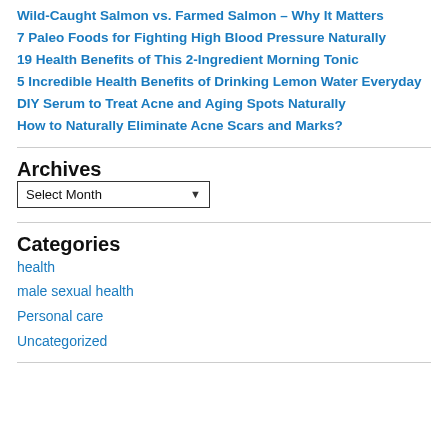Wild-Caught Salmon vs. Farmed Salmon – Why It Matters
7 Paleo Foods for Fighting High Blood Pressure Naturally
19 Health Benefits of This 2-Ingredient Morning Tonic
5 Incredible Health Benefits of Drinking Lemon Water Everyday
DIY Serum to Treat Acne and Aging Spots Naturally
How to Naturally Eliminate Acne Scars and Marks?
Archives
Select Month
Categories
health
male sexual health
Personal care
Uncategorized